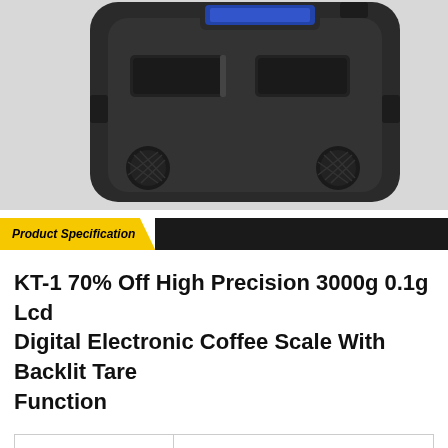[Figure (photo): Bottom view of a black digital coffee scale showing rubber feet, battery compartment slots, and a blue LCD display at the top]
Product Specification
KT-1 70% Off High Precision 3000g 0.1g Lcd Digital Electronic Coffee Scale With Backlit Tare Function
| Product Name | KT-1 70% Off High Precision 3000g 0.1g Lcd Digital Electronic Coffee Scale With Backlit Tare Function |
| Features | Good quality and low price |